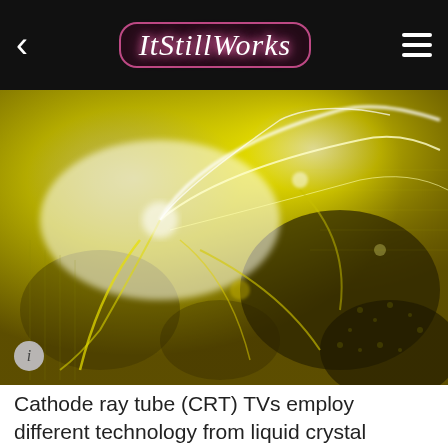ItStillWorks
[Figure (photo): Abstract yellow glowing plasma or liquid crystal display energy pattern on a dark background, with bright white lightning-like tendrils radiating outward.]
Cathode ray tube (CRT) TVs employ different technology from liquid crystal display (LCD) and plasma TVs. In fact, it is the presence of a CRT -- a funnel-shaped glass tube -- that gives CRT TVs